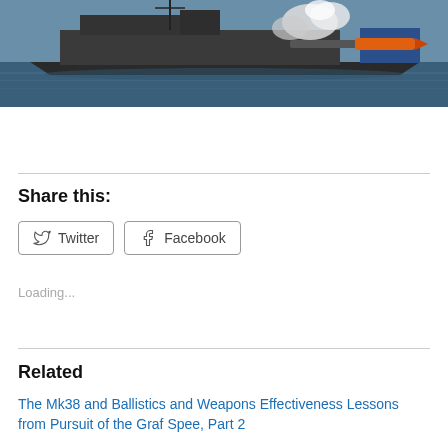[Figure (photo): Naval vessel / warship on water firing a torpedo or missile, with smoke and an orange projectile visible. Dark-hulled ship photographed from the side on open water.]
Share this:
Twitter  Facebook
Loading...
Related
The Mk38 and Ballistics and Weapons Effectiveness Lessons from Pursuit of the Graf Spee, Part 2